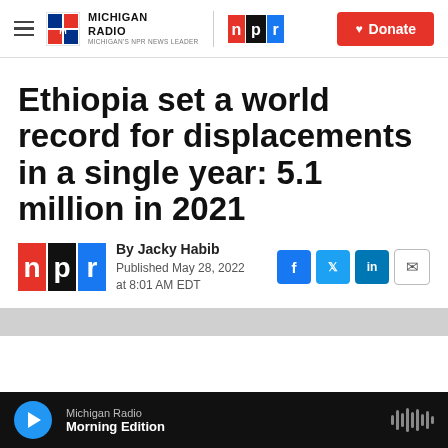Michigan Radio | NPR | Donate
Ethiopia set a world record for displacements in a single year: 5.1 million in 2021
By Jacky Habib
Published May 28, 2022 at 8:01 AM EDT
[Figure (screenshot): Gray image strip at bottom of article preview]
Michigan Radio — Morning Edition (audio player)